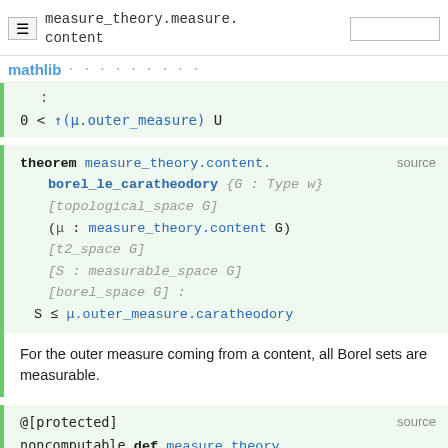measure_theory.measure.content
0 < ↑(μ.outer_measure) U
theorem measure_theory.content.borel_le_caratheodory {G : Type w} [topological_space G] (μ : measure_theory.content G) [t2_space G] [S : measurable_space G] [borel_space G] : S ≤ μ.outer_measure.caratheodory
For the outer measure coming from a content, all Borel sets are measurable.
@[protected] noncomputable def measure_theory.